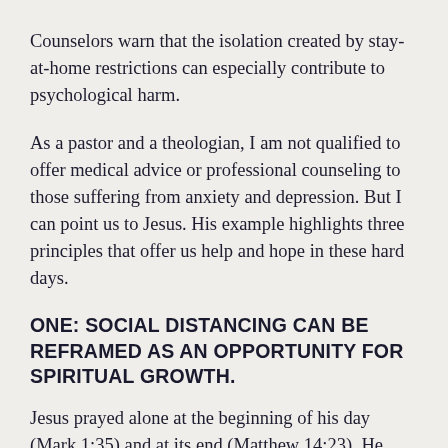Counselors warn that the isolation created by stay-at-home restrictions can especially contribute to psychological harm.
As a pastor and a theologian, I am not qualified to offer medical advice or professional counseling to those suffering from anxiety and depression. But I can point us to Jesus. His example highlights three principles that offer us help and hope in these hard days.
ONE: SOCIAL DISTANCING CAN BE REFRAMED AS AN OPPORTUNITY FOR SPIRITUAL GROWTH.
Jesus prayed alone at the beginning of his day (Mark 1:35) and at its end (Matthew 14:23). He agonized in solitary prayer before his arrest and crucifixion (Matthew 26:36–46). Times of isolation became